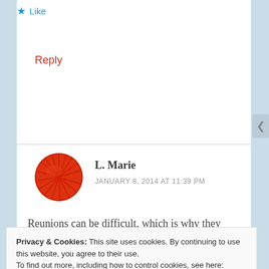★ Like
Reply
L. Marie
JANUARY 8, 2014 AT 11:39 PM
Reunions can be difficult, which is why they make a
Privacy & Cookies: This site uses cookies. By continuing to use this website, you agree to their use.
To find out more, including how to control cookies, see here: Cookie Policy
Close and accept